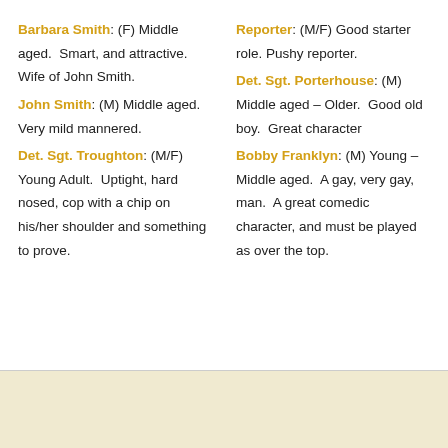Barbara Smith: (F) Middle aged.  Smart, and attractive.  Wife of John Smith.
John Smith: (M) Middle aged.  Very mild mannered.
Det. Sgt. Troughton: (M/F) Young Adult.  Uptight, hard nosed, cop with a chip on his/her shoulder and something to prove.
Reporter: (M/F) Good starter role. Pushy reporter.
Det. Sgt. Porterhouse: (M)  Middle aged – Older.  Good old boy.  Great character
Bobby Franklyn: (M) Young – Middle aged.  A gay, very gay, man.  A great comedic character, and must be played as over the top.